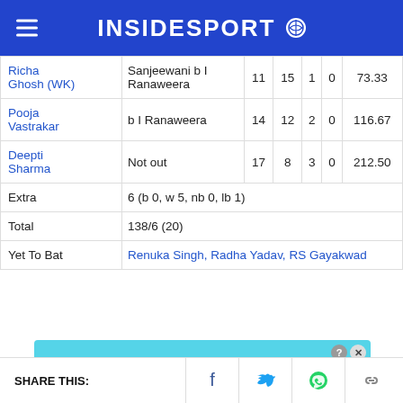INSIDESPORT
| Player | Dismissal | R | B | 4s | 6s | SR |
| --- | --- | --- | --- | --- | --- | --- |
| Richa Ghosh (WK) | Sanjeewani b I Ranaweera | 11 | 15 | 1 | 0 | 73.33 |
| Pooja Vastrakar | b I Ranaweera | 14 | 12 | 2 | 0 | 116.67 |
| Deepti Sharma | Not out | 17 | 8 | 3 | 0 | 212.50 |
| Extra | 6 (b 0, w 5, nb 0, lb 1) |  |  |  |  |  |
| Total | 138/6 (20) |  |  |  |  |  |
| Yet To Bat | Renuka Singh, Radha Yadav, RS Gayakwad |  |  |  |  |  |
[Figure (infographic): BitLife advertisement banner - NOW WITH GOD MODE]
SHARE THIS: